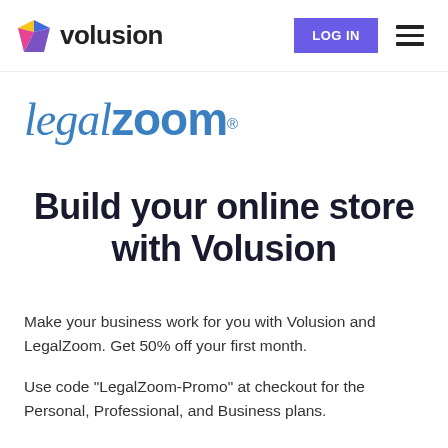volusion | LOG IN | menu
[Figure (logo): LegalZoom logo in blue italic and bold serif/sans combination with registered trademark symbol]
Build your online store with Volusion
Make your business work for you with Volusion and LegalZoom. Get 50% off your first month.
Use code "LegalZoom-Promo" at checkout for the Personal, Professional, and Business plans.